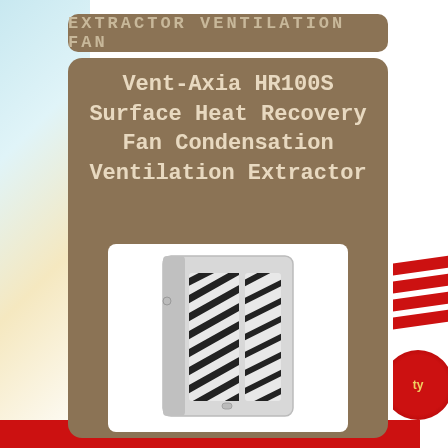EXTRACTOR VENTILATION FAN
Vent-Axia HR100S Surface Heat Recovery Fan Condensation Ventilation Extractor
[Figure (photo): White wall-mounted extractor ventilation fan unit (Vent-Axia HR100S) with diagonal black grill vents on the front face, shown against a white background inside a brown rounded panel.]